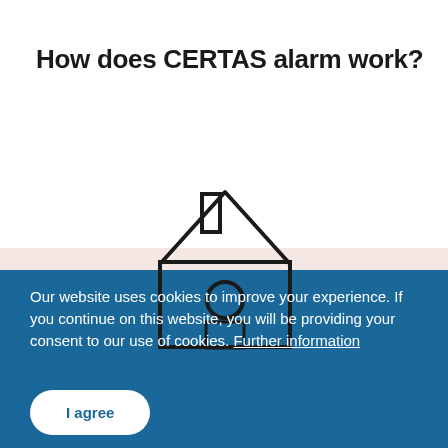How does CERTAS alarm work?
[Figure (illustration): Line drawing of a house with a chimney and a circular alarm sensor on the front, rendered in dark outline on a light pink background]
Our website uses cookies to improve your experience. If you continue on this website, you will be providing your consent to our use of cookies. Further information
I agree